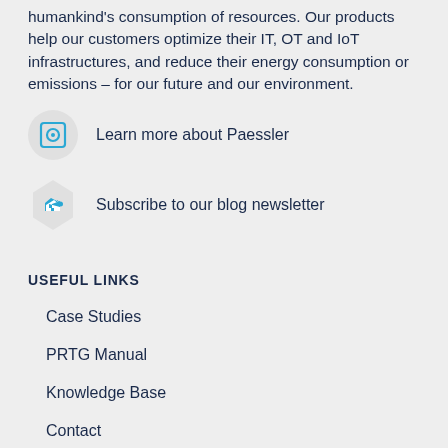humankind's consumption of resources. Our products help our customers optimize their IT, OT and IoT infrastructures, and reduce their energy consumption or emissions – for our future and our environment.
Learn more about Paessler
Subscribe to our blog newsletter
USEFUL LINKS
Case Studies
PRTG Manual
Knowledge Base
Contact